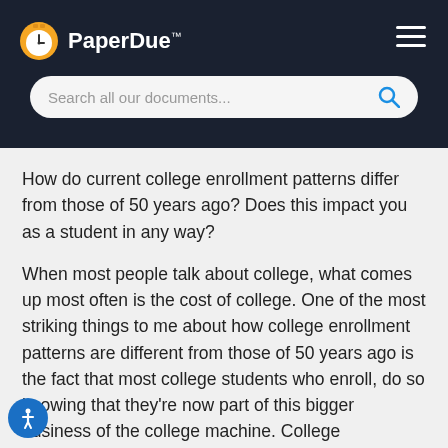PaperDue™
How do current college enrollment patterns differ from those of 50 years ago? Does this impact you as a student in any way?
When most people talk about college, what comes up most often is the cost of college. One of the most striking things to me about how college enrollment patterns are different from those of 50 years ago is the fact that most college students who enroll, do so knowing that they're now part of this bigger business of the college machine. College enrollment in top